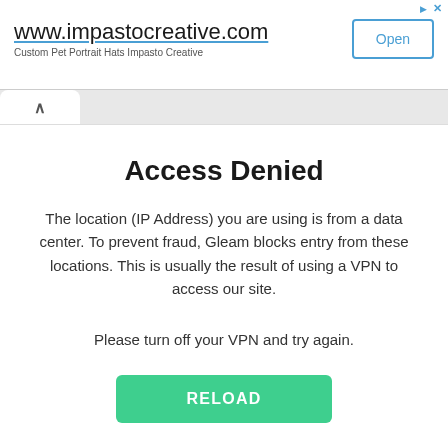[Figure (other): Advertisement banner for www.impastocreative.com with Open button and close/arrow icons]
Access Denied
The location (IP Address) you are using is from a data center. To prevent fraud, Gleam blocks entry from these locations. This is usually the result of using a VPN to access our site.
Please turn off your VPN and try again.
RELOAD